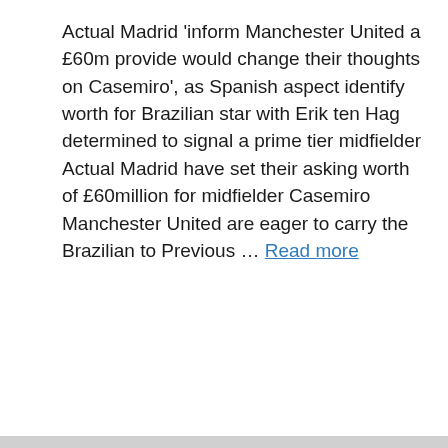Actual Madrid 'inform Manchester United a £60m provide would change their thoughts on Casemiro', as Spanish aspect identify worth for Brazilian star with Erik ten Hag determined to signal a prime tier midfielder Actual Madrid have set their asking worth of £60million for midfielder Casemiro Manchester United are eager to carry the Brazilian to Previous … Read more
Sports
dailymail, football, Los Angeles, Manchester United, Real Madrid, sport
Leave a comment